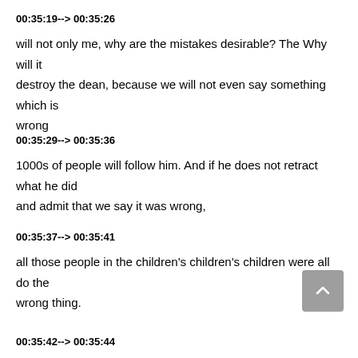00:35:19--> 00:35:26
will not only me, why are the mistakes desirable? The Why will it destroy the dean, because we will not even say something which is wrong
00:35:29--> 00:35:36
1000s of people will follow him. And if he does not retract what he did and admit that we say it was wrong,
00:35:37--> 00:35:41
all those people in the children's children's children were all do the wrong thing.
00:35:42--> 00:35:44